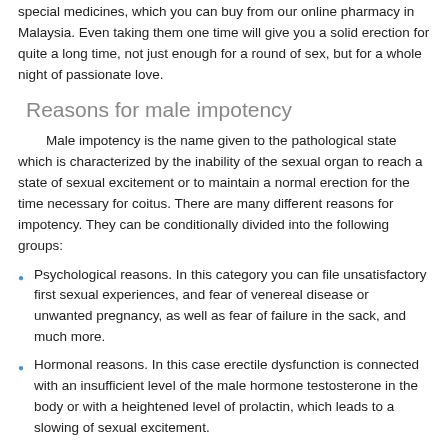special medicines, which you can buy from our online pharmacy in Malaysia. Even taking them one time will give you a solid erection for quite a long time, not just enough for a round of sex, but for a whole night of passionate love.
Reasons for male impotency
Male impotency is the name given to the pathological state which is characterized by the inability of the sexual organ to reach a state of sexual excitement or to maintain a normal erection for the time necessary for coitus. There are many different reasons for impotency. They can be conditionally divided into the following groups:
Psychological reasons. In this category you can file unsatisfactory first sexual experiences, and fear of venereal disease or unwanted pregnancy, as well as fear of failure in the sack, and much more.
Hormonal reasons. In this case erectile dysfunction is connected with an insufficient level of the male hormone testosterone in the body or with a heightened level of prolactin, which leads to a slowing of sexual excitement.
Vascular reasons. In some general illnesses, such as diabetes and others, atrophy of blood vessels occurs, and as a result blood flow to the corpusa cavernosa of the sexual organs is negatively impacted, which leads to impotency and an inability to attain an erection.
Neurogenic reasons which different injuries, illnesses, and nervous disorders, which impair the function of nervous impulses and the